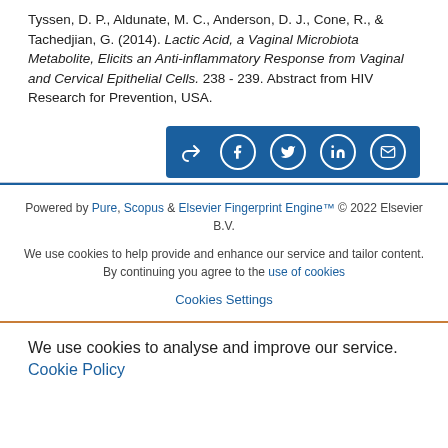Tyssen, D. P., Aldunate, M. C., Anderson, D. J., Cone, R., & Tachedjian, G. (2014). Lactic Acid, a Vaginal Microbiota Metabolite, Elicits an Anti-inflammatory Response from Vaginal and Cervical Epithelial Cells. 238 - 239. Abstract from HIV Research for Prevention, USA.
[Figure (other): Social share bar with icons for share, Facebook, Twitter, LinkedIn, and email on a blue background]
Powered by Pure, Scopus & Elsevier Fingerprint Engine™ © 2022 Elsevier B.V.
We use cookies to help provide and enhance our service and tailor content. By continuing you agree to the use of cookies
Cookies Settings
We use cookies to analyse and improve our service. Cookie Policy